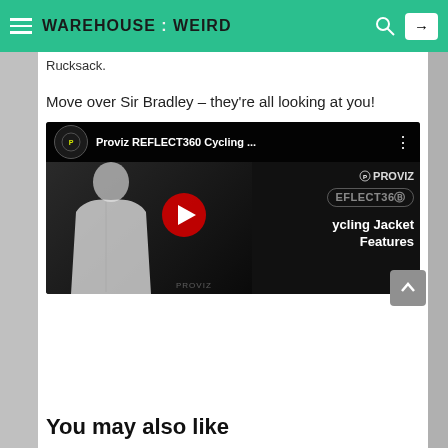WAREHOUSE : WEIRD
Rucksack.
Move over Sir Bradley – they're all looking at you!
[Figure (screenshot): YouTube video thumbnail for Proviz REFLECT360 Cycling Jacket Features video, showing a person wearing a reflective white cycling jacket against a dark background, with a red YouTube play button in the center. The Proviz logo and channel name appear in the top bar.]
You may also like